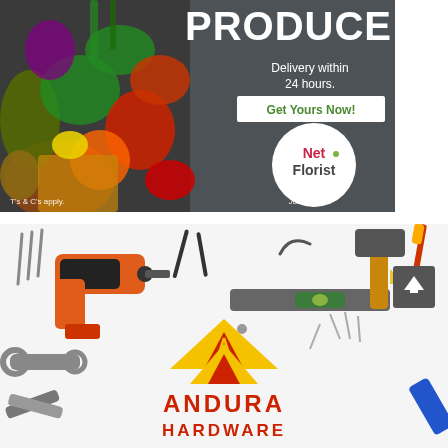[Figure (advertisement): Net Florist produce advertisement on dark chalkboard background with vegetables on left. Text reads: PRODUCE, Delivery within 24 hours., Get Yours Now!, Net Florist, T's & C's apply., Just be nice]
[Figure (advertisement): Andura Hardware advertisement showing various tools (drill, hammer, level, wrenches, screws) on a white background with the Andura Hardware logo (yellow roof/triangle with red stripes) and red text ANDURA HARDWARE at bottom center. A grey scroll-to-top button is at top right.]